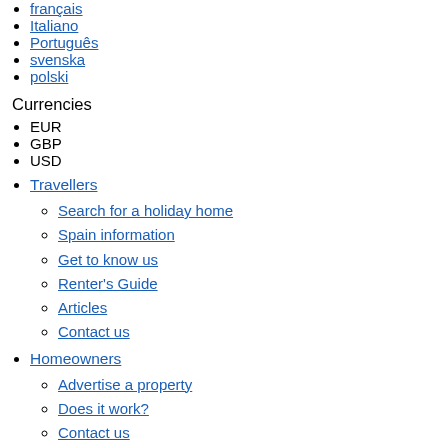français
Italiano
Português
svenska
polski
Currencies
EUR
GBP
USD
Travellers
Search for a holiday home
Spain information
Get to know us
Renter's Guide
Articles
Contact us
Homeowners
Advertise a property
Does it work?
Contact us
Get to know us
RentalBuzz
Login